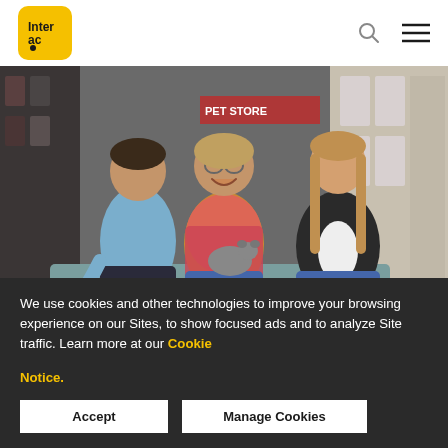Interac logo, search icon, menu icon
[Figure (photo): Three people sitting and laughing in a pet store. A young man on the left in a light blue shirt holds a puppy. A middle-aged woman in the center in a colorful top holds a small grey dog and laughs. A young woman on the right in a black jacket sits beside them. Store shelves visible in background.]
We use cookies and other technologies to improve your browsing experience on our Sites, to show focused ads and to analyze Site traffic. Learn more at our Cookie Notice.
Accept
Manage Cookies